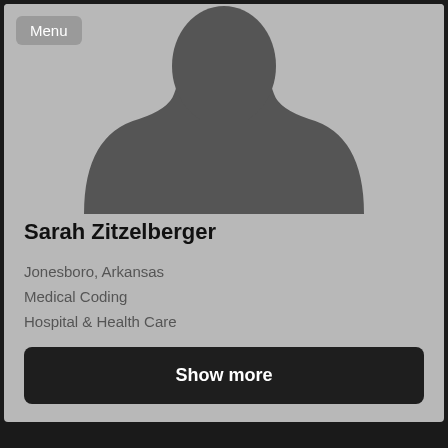[Figure (illustration): Generic grey silhouette of a person (head and shoulders) on a light grey background, representing a placeholder profile photo.]
Menu
Sarah Zitzelberger
Jonesboro, Arkansas
Medical Coding
Hospital & Health Care
Show more